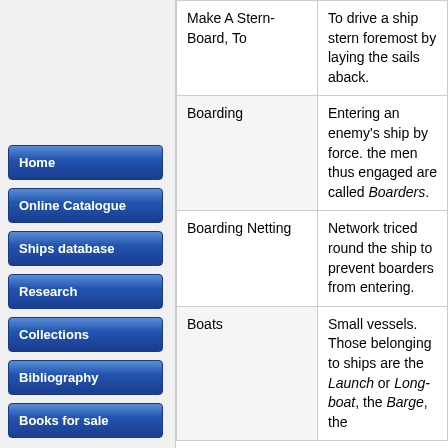Home
Online Catalogue
Ships database
Research
Collections
Bibliography
Books for sale
| Term | Definition |
| --- | --- |
| Make A Stern-Board, To | To drive a ship stern foremost by laying the sails aback. |
| Boarding | Entering an enemy's ship by force. the men thus engaged are called Boarders. |
| Boarding Netting | Network triced round the ship to prevent boarders from entering. |
| Boats | Small vessels. Those belonging to ships are the Launch or Long-boat, the Barge, the |